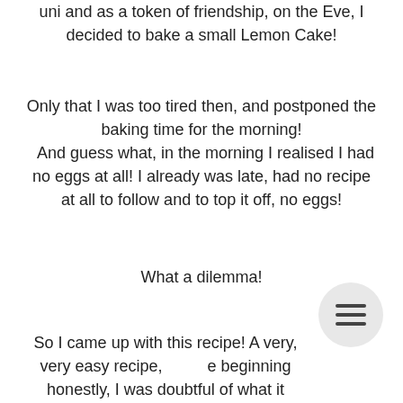uni and as a token of friendship, on the Eve, I decided to bake a small Lemon Cake!
Only that I was too tired then, and postponed the baking time for the morning! And guess what, in the morning I realised I had no eggs at all! I already was late, had no recipe at all to follow and to top it off, no eggs!
What a dilemma!
So I came up with this recipe! A very, very easy recipe, at the beginning honestly, I was doubtful of what it would turn out into!!!